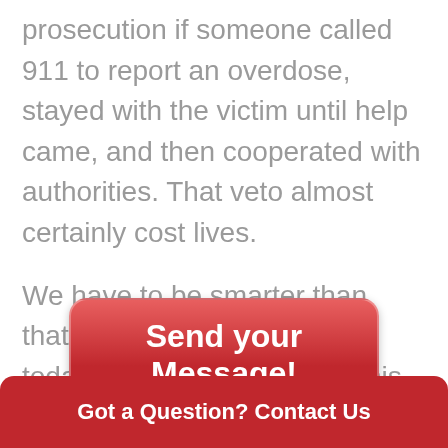prosecution if someone called 911 to report an overdose, stayed with the victim until help came, and then cooperated with authorities. That veto almost certainly cost lives.
We have to be smarter than that. Contact the Governor today to tell him to reverse this bad decision.
[Figure (other): Red rounded button with white bold text reading 'Send your Message!']
Got a Question? Contact Us